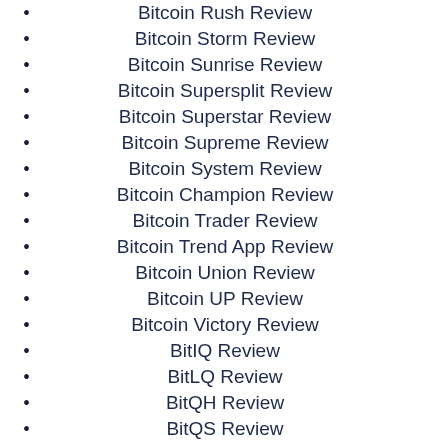Bitcoin Rush Review
Bitcoin Storm Review
Bitcoin Sunrise Review
Bitcoin Supersplit Review
Bitcoin Superstar Review
Bitcoin Supreme Review
Bitcoin System Review
Bitcoin Champion Review
Bitcoin Trader Review
Bitcoin Trend App Review
Bitcoin Union Review
Bitcoin UP Review
Bitcoin Victory Review
BitIQ Review
BitLQ Review
BitQH Review
BitQS Review